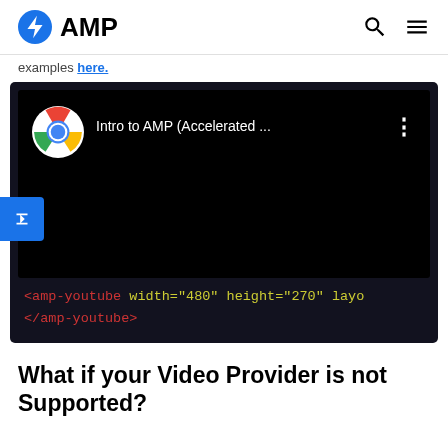AMP
examples here.
[Figure (screenshot): Screenshot of AMP documentation page showing a YouTube video embed with Chrome logo, title 'Intro to AMP (Accelerated ...' and code snippet: <amp-youtube width="480" height="270" layo... </amp-youtube>]
What if your Video Provider is not Supported?